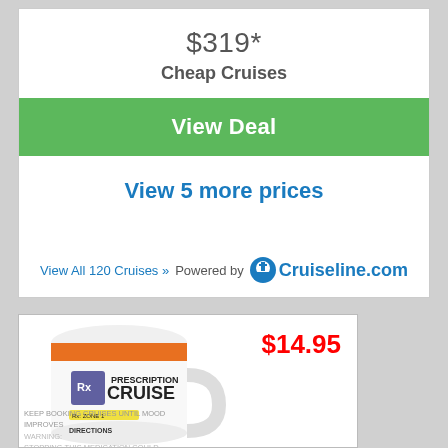$319*
Cheap Cruises
View Deal
View 5 more prices
View All 120 Cruises »   Powered by Cruiseline.com
[Figure (photo): A white mug with an orange stripe and 'PRESCRIPTION CRUISE' label design, showing $14.95 price tag]
$14.95
KEEP BOOKING CRUISES UNTIL MOOD IMPROVES
WARNING:
STOPPING THIS MEDICATION COULD